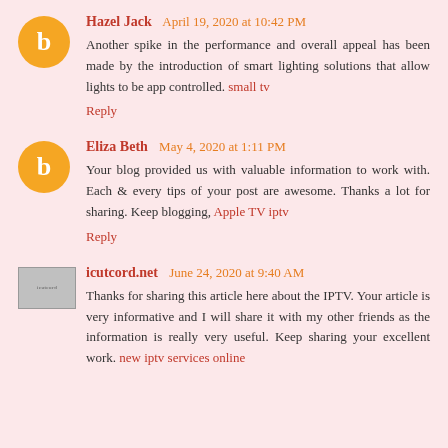Hazel Jack  April 19, 2020 at 10:42 PM
Another spike in the performance and overall appeal has been made by the introduction of smart lighting solutions that allow lights to be app controlled. small tv
Reply
Eliza Beth  May 4, 2020 at 1:11 PM
Your blog provided us with valuable information to work with. Each & every tips of your post are awesome. Thanks a lot for sharing. Keep blogging, Apple TV iptv
Reply
icutcord.net  June 24, 2020 at 9:40 AM
Thanks for sharing this article here about the IPTV. Your article is very informative and I will share it with my other friends as the information is really very useful. Keep sharing your excellent work. new iptv services online